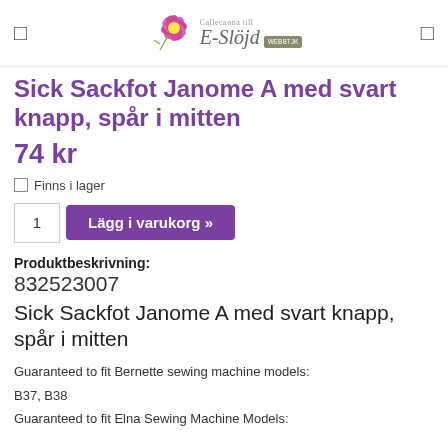E-Slöjd (logo header with navigation icons)
Sick Sackfot Janome A med svart knapp, spår i mitten
74 kr
Finns i lager
Lägg i varukorg »
Produktbeskrivning:
832523007
Sick Sackfot Janome A med svart knapp, spår i mitten
Guaranteed to fit Bernette sewing machine models:
B37, B38
Guaranteed to fit Elna Sewing Machine Models: